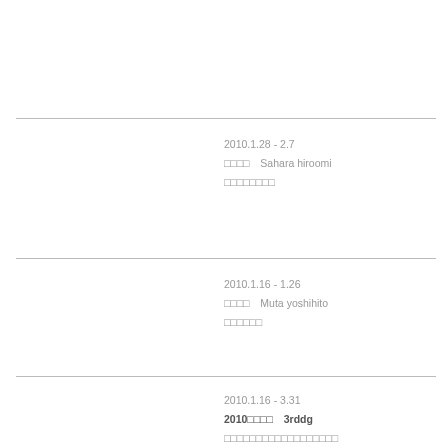2010.1.28 - 2.7
□□□□　Sahara hiroomi
□□□□□□□□
2010.1.16 - 1.26
□□□□　Muta yoshihito
□□□□□□
2010.1.16 - 3.31
2010□□□□　3rddg
□□□□□□□□□□□□□□□□□□